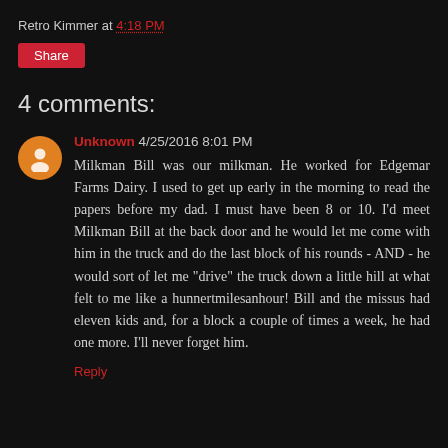Retro Kimmer at 4:18 PM
Share
4 comments:
Unknown 4/25/2016 8:01 PM
Milkman Bill was our milkman. He worked for Edgemar Farms Dairy. I used to get up early in the morning to read the papers before my dad. I must have been 8 or 10. I'd meet Milkman Bill at the back door and he would let me come with him in the truck and do the last block of his rounds - AND - he would sort of let me "drive" the truck down a little hill at what felt to me like a hunnertmilesanhour! Bill and the missus had eleven kids and, for a block a couple of times a week, he had one more. I'll never forget him.
Reply